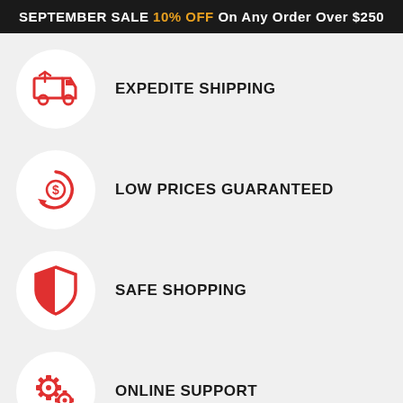SEPTEMBER SALE 10% OFF On Any Order Over $250
EXPEDITE SHIPPING
LOW PRICES GUARANTEED
SAFE SHOPPING
ONLINE SUPPORT
CONTACT US